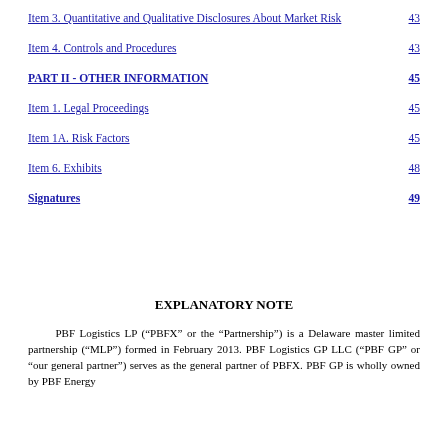Item 3. Quantitative and Qualitative Disclosures About Market Risk    43
Item 4. Controls and Procedures    43
PART II - OTHER INFORMATION    45
Item 1. Legal Proceedings    45
Item 1A. Risk Factors    45
Item 6. Exhibits    48
Signatures    49
EXPLANATORY NOTE
PBF Logistics LP (“PBFX” or the “Partnership”) is a Delaware master limited partnership (“MLP”) formed in February 2013. PBF Logistics GP LLC (“PBF GP” or “our general partner”) serves as the general partner of PBFX. PBF GP is wholly owned by PBF Energy